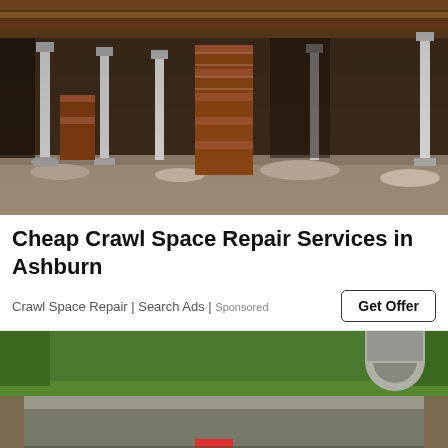[Figure (photo): Interior crawl space under a house showing brick and metal support columns/jacks on a gravel and dirt floor with wooden beams above]
Cheap Crawl Space Repair Services in Ashburn
Crawl Space Repair | Search Ads | Sponsored
Get Offer
[Figure (photo): Exterior view of a foundation being lifted with a red hydraulic jack under a concrete slab, surrounded by grass]